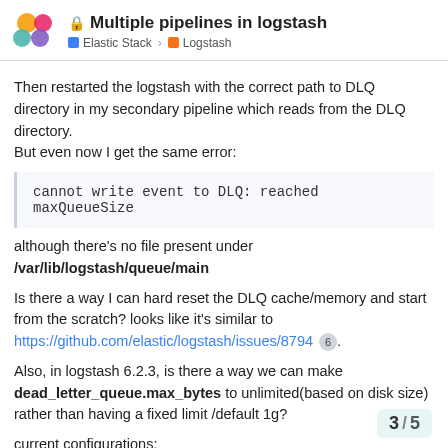Multiple pipelines in logstash — Elastic Stack › Logstash
Then restarted the logstash with the correct path to DLQ directory in my secondary pipeline which reads from the DLQ directory.
But even now I get the same error:
cannot write event to DLQ: reached maxQueueSize
although there's no file present under /var/lib/logstash/queue/main
Is there a way I can hard reset the DLQ cache/memory and start from the scratch? looks like it's similar to https://github.com/elastic/logstash/issues/8794 6 .
Also, in logstash 6.2.3, is there a way we can make dead_letter_queue.max_bytes to unlimited(based on disk size) rather than having a fixed limit /default 1g?
current configurations:
3 / 5